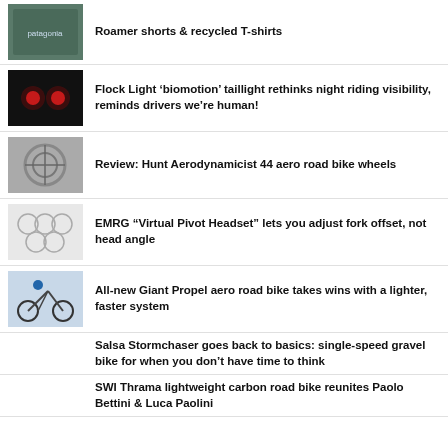Roamer shorts & recycled T-shirts
Flock Light ‘biomotion’ taillight rethinks night riding visibility, reminds drivers we’re human!
Review: Hunt Aerodynamicist 44 aero road bike wheels
EMRG “Virtual Pivot Headset” lets you adjust fork offset, not head angle
All-new Giant Propel aero road bike takes wins with a lighter, faster system
Salsa Stormchaser goes back to basics: single-speed gravel bike for when you don’t have time to think
SWI Thrama lightweight carbon road bike reunites Paolo Bettini & Luca Paolini